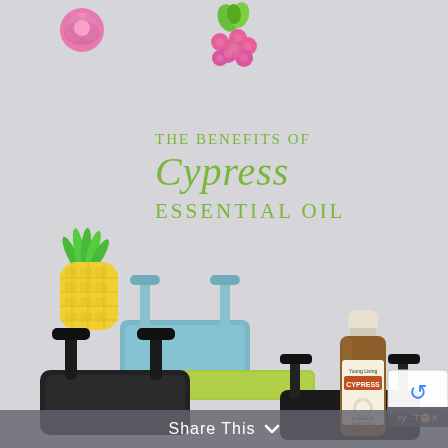[Figure (photo): Promotional image for Cypress Essential Oil. Light gray background with colorful toy fruit/candy decorations (pink raspberry, yellow pineapple, pink/green rose), a blue binder clip, a black binder clip, a green item, and a Young Living Cypress essential oil bottle. Green script/display text reads 'THE BENEFITS OF Cypress Essential Oil'. A 'Share This' bar appears at the bottom. A reCAPTCHA badge is in the bottom right corner.]
THE BENEFITS OF Cypress Essential Oil
Share This